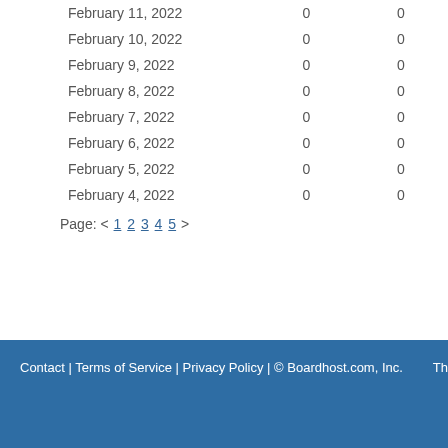| Date | Col2 | Col3 |
| --- | --- | --- |
| February 11, 2022 | 0 | 0 |
| February 10, 2022 | 0 | 0 |
| February 9, 2022 | 0 | 0 |
| February 8, 2022 | 0 | 0 |
| February 7, 2022 | 0 | 0 |
| February 6, 2022 | 0 | 0 |
| February 5, 2022 | 0 | 0 |
| February 4, 2022 | 0 | 0 |
Page: < 1 2 3 4 5 >
Contact | Terms of Service | Privacy Policy | © Boardhost.com, Inc.   Th